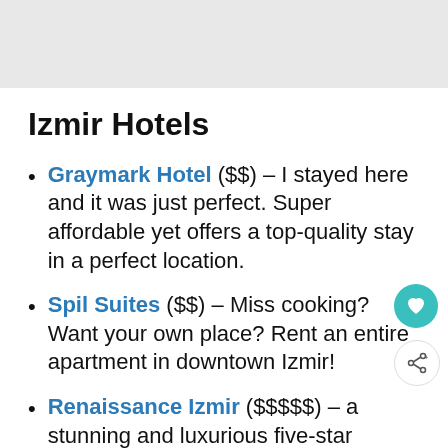Izmir Hotels
Graymark Hotel ($$) – I stayed here and it was just perfect. Super affordable yet offers a top-quality stay in a perfect location.
Spil Suites ($$) – Miss cooking? Want your own place? Rent an entire apartment in downtown Izmir!
Renaissance Izmir ($$$$$) – a stunning and luxurious five-star